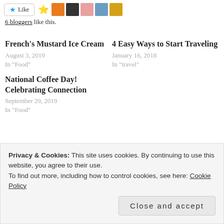[Figure (other): Like button with star icon and a strip of blogger avatar thumbnails]
6 bloggers like this.
French's Mustard Ice Cream
August 3, 2019
In "Food"
4 Easy Ways to Start Traveling
January 16, 2018
In "travel"
National Coffee Day! Celebrating Connection
September 29, 2019
In "Food"
Privacy & Cookies: This site uses cookies. By continuing to use this website, you agree to their use.
To find out more, including how to control cookies, see here: Cookie Policy
Close and accept